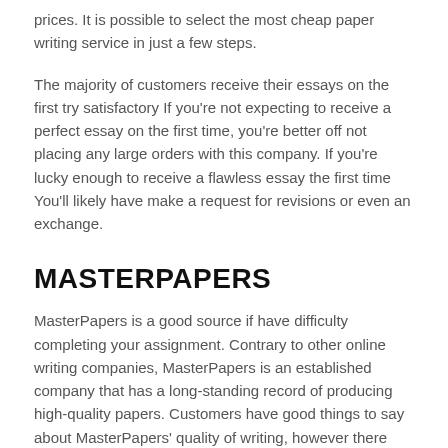prices. It is possible to select the most cheap paper writing service in just a few steps.
The majority of customers receive their essays on the first try satisfactory If you’re not expecting to receive a perfect essay on the first time, you’re better off not placing any large orders with this company. If you’re lucky enough to receive a flawless essay the first time You’ll likely have make a request for revisions or even an exchange.
MASTERPAPERS
MasterPapers is a good source if have difficulty completing your assignment. Contrary to other online writing companies, MasterPapers is an established company that has a long-standing record of producing high-quality papers. Customers have good things to say about MasterPapers’ quality of writing, however there